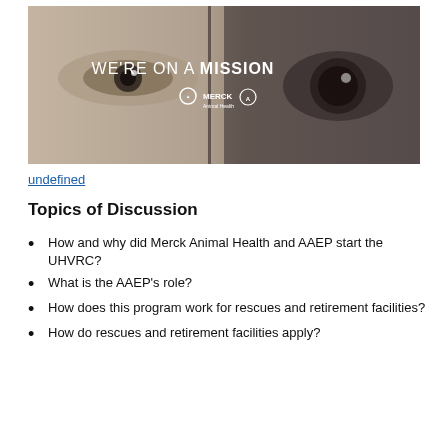[Figure (photo): Banner image showing a close-up of a child's eye on the left and a horse's eye on the right, with text 'WE'RE ON A MISSION' and logos for Merck Animal Health and AAEP in white.]
undefined
Topics of Discussion
How and why did Merck Animal Health and AAEP start the UHVRC?
What is the AAEP's role?
How does this program work for rescues and retirement facilities?
How do rescues and retirement facilities apply?